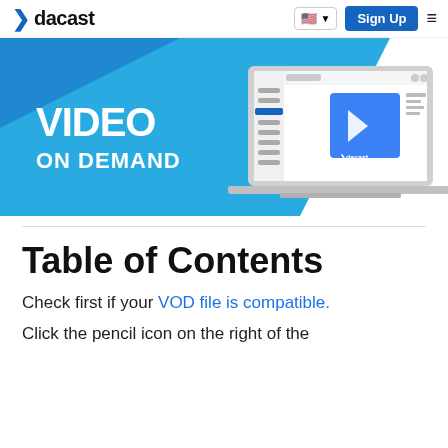dacast | Sign Up
[Figure (screenshot): Dacast video on demand hero banner with blue geometric background and laptop showing Dacast dashboard. Text reads VIDEO ON DEMAND.]
Table of Contents
Check first if your VOD file is compatible.
Click the pencil icon on the right of the